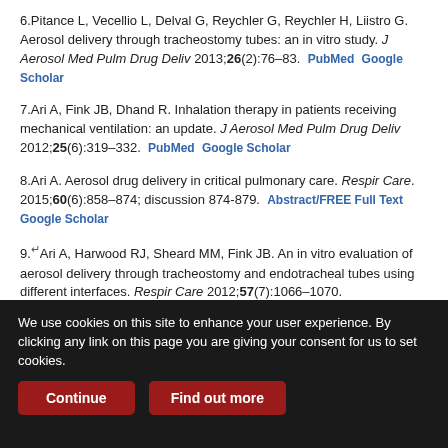6. Pitance L, Vecellio L, Delval G, Reychler G, Reychler H, Liistro G. Aerosol delivery through tracheostomy tubes: an in vitro study. J Aerosol Med Pulm Drug Deliv 2013;26(2):76–83. PubMed Google Scholar
7. Ari A, Fink JB, Dhand R. Inhalation therapy in patients receiving mechanical ventilation: an update. J Aerosol Med Pulm Drug Deliv 2012;25(6):319–332. PubMed Google Scholar
8. Ari A. Aerosol drug delivery in critical pulmonary care. Respir Care. 2015;60(6):858–874; discussion 874-879. Abstract/FREE Full Text Google Scholar
9. Ari A, Harwood RJ, Sheard MM, Fink JB. An in vitro evaluation of aerosol delivery through tracheostomy and endotracheal tubes using different interfaces. Respir Care 2012;57(7):1066–1070. Abstract/FREE Full Text Google Scholar
We use cookies on this site to enhance your user experience. By clicking any link on this page you are giving your consent for us to set cookies.